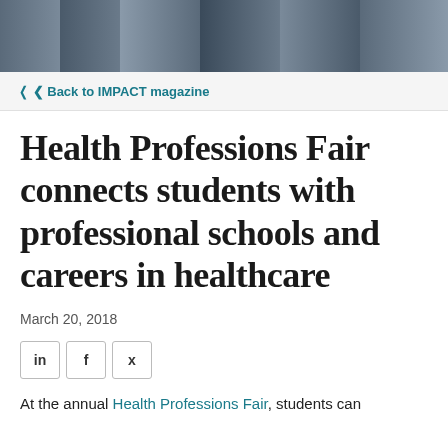[Figure (photo): Banner photo showing people at a health professions fair event, cropped to show upper portion]
< Back to IMPACT magazine
Health Professions Fair connects students with professional schools and careers in healthcare
March 20, 2018
[Figure (other): Social media share buttons: LinkedIn (in), Facebook (f), Twitter (bird icon)]
At the annual Health Professions Fair, students can